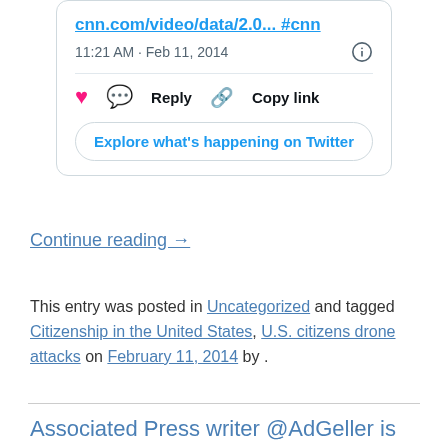[Figure (screenshot): Embedded Twitter/X tweet card showing link 'cnn.com/video/data/2.0... #cnn', timestamp '11:21 AM · Feb 11, 2014', heart/reply/copy link actions, and 'Explore what's happening on Twitter' button]
Continue reading →
This entry was posted in Uncategorized and tagged Citizenship in the United States, U.S. citizens drone attacks on February 11, 2014 by .
Associated Press writer @AdGeller is